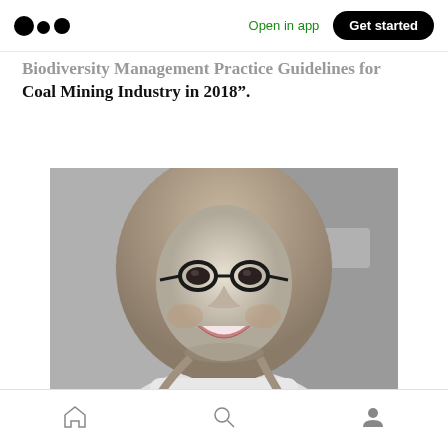Medium app navigation bar with logo, Open in app, Get started button
Biodiversity Management Practice Guidelines for Coal Mining Industry in 2018".
[Figure (photo): Black and white portrait photo of a smiling woman wearing a hijab and glasses]
Bottom navigation bar with home, search, and profile icons